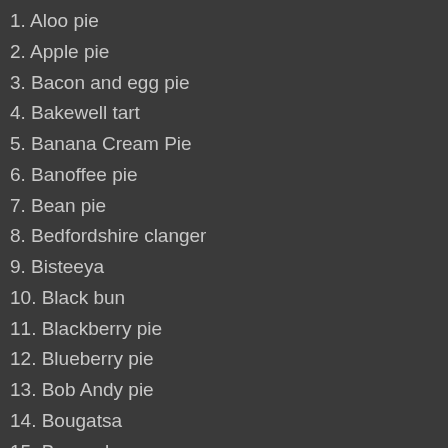1. Aloo pie
2. Apple pie
3. Bacon and egg pie
4. Bakewell tart
5. Banana Cream Pie
6. Banoffee pie
7. Bean pie
8. Bedfordshire clanger
9. Bisteeya
10. Black bun
11. Blackberry pie
12. Blueberry pie
13. Bob Andy pie
14. Bougatsa
15. Boysenberry
16. Bridie
17. Buko pie
18. Bundevara
19. Burek
20. Butter pie
21. Caramel tart
22. Cheese pie